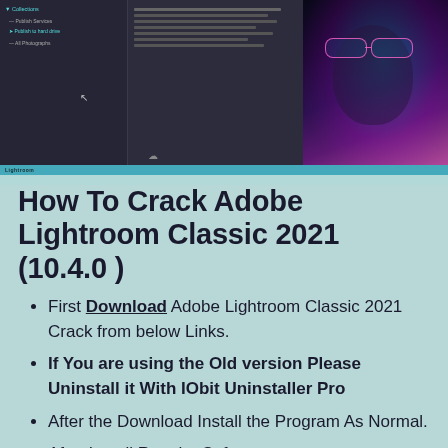[Figure (screenshot): Screenshot of Adobe Lightroom Classic interface showing a dark editing workspace with a stylized photo of a person wearing glasses with colorful lighting on the right side.]
How To Crack Adobe Lightroom Classic 2021 (10.4.0 )
First Download Adobe Lightroom Classic 2021 Crack from below Links.
If You are using the Old version Please Uninstall it With IObit Uninstaller Pro
After the Download Install the Program As Normal.
After Install Run the Software